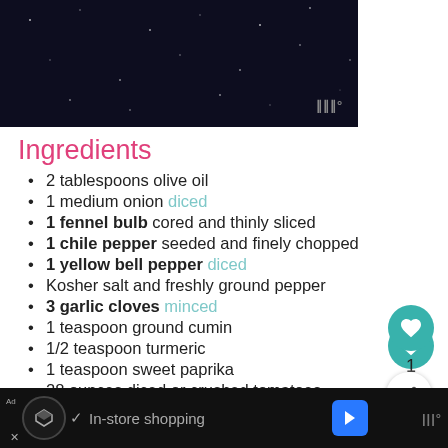[Figure (photo): Dark navy/black starfield image at top of page]
Ingredients
2 tablespoons olive oil
1 medium onion diced
1 fennel bulb cored and thinly sliced
1 chile pepper seeded and finely chopped
1 yellow bell pepper diced
Kosher salt and freshly ground pepper
3 garlic cloves minced
1 teaspoon ground cumin
1/2 teaspoon turmeric
1 teaspoon sweet paprika
28 ounces diced or crushed tomatoes
2 tablespoons tomato paste
In-store shopping